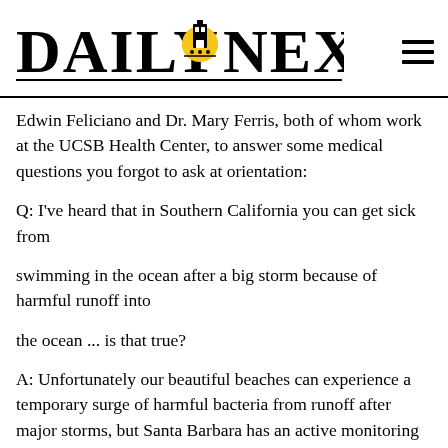DAILY NEXUS
Edwin Feliciano and Dr. Mary Ferris, both of whom work at the UCSB Health Center, to answer some medical questions you forgot to ask at orientation:
Q: I've heard that in Southern California you can get sick from
swimming in the ocean after a big storm because of harmful runoff into
the ocean ... is that true?
A: Unfortunately our beautiful beaches can experience a temporary surge of harmful bacteria from runoff after major storms, but Santa Barbara has an active monitoring